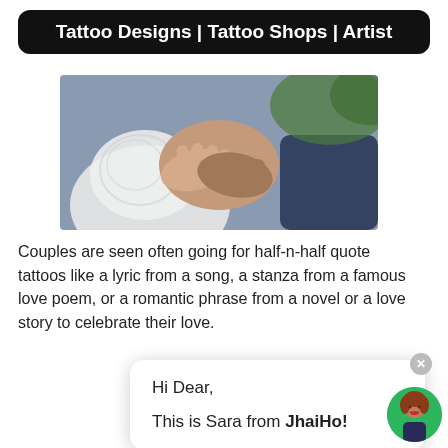Tattoo Designs | Tattoo Shops | Artist
[Figure (photo): Photo of couple holding hands, bride in white dress, groom in dark suit]
Couples are seen often going for half-n-half quote tattoos like a lyric from a song, a stanza from a famous love poem, or a romantic phrase from a novel or a love story to celebrate their love.
Hi Dear,

This is Sara from JhaiHo!
[Figure (photo): Photo of two forearms with tattoos reading 'no matter wha' and 'o matter where']